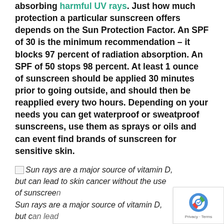absorbing harmful UV rays. Just how much protection a particular sunscreen offers depends on the Sun Protection Factor. An SPF of 30 is the minimum recommendation – it blocks 97 percent of radiation absorption. An SPF of 50 stops 98 percent. At least 1 ounce of sunscreen should be applied 30 minutes prior to going outside, and should then be reapplied every two hours. Depending on your needs you can get waterproof or sweatproof sunscreens, use them as sprays or oils and can event find brands of sunscreen for sensitive skin.
Sun rays are a major source of vitamin D, but can lead to skin cancer without the use of sunscreen. Sun rays are a major source of vitamin D, but can lead to skin cancer without the use of sunscreen.